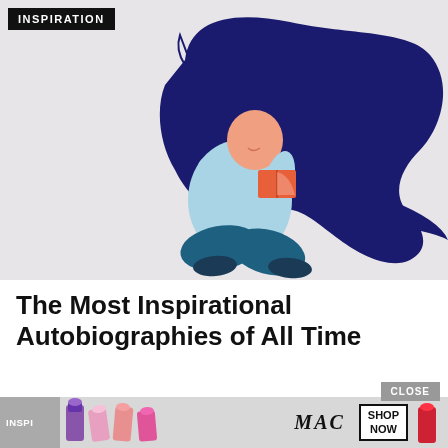INSPIRATION
[Figure (illustration): Flat illustration of a woman with long flowing dark navy blue hair sitting cross-legged on a light grey background, reading a red/orange book. Her clothing is light blue and teal/dark blue. The hair forms a large organic blob shape behind her.]
The Most Inspirational Autobiographies of All Time
[Figure (infographic): Advertisement bar at the bottom. Left side shows 'INSPI' label in grey, followed by colorful lipsticks (purple, pink, salmon tones and a red one on right). Center shows MAC logo in italic serif font. Right side shows a 'SHOP NOW' box with border. A 'CLOSE' button appears in grey above the ad bar on the right side.]